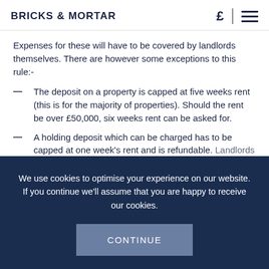BRICKS & MORTAR
Expenses for these will have to be covered by landlords themselves. There are however some exceptions to this rule:-
The deposit on a property is capped at five weeks rent (this is for the majority of properties). Should the rent be over £50,000, six weeks rent can be asked for.
A holding deposit which can be charged has to be capped at one week's rent and is refundable. Landlords are able to charge for an early...
We use cookies to optimise your experience on our website. If you continue we'll assume that you are happy to receive our cookies.